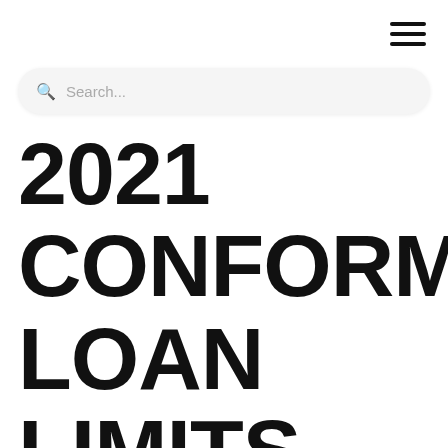[Figure (other): Hamburger menu icon with three horizontal lines in top-right corner]
[Figure (other): Search bar with magnifying glass icon and placeholder text 'Search...']
2021 CONFORMING LOAN LIMITS FOR COLORADO (CO)